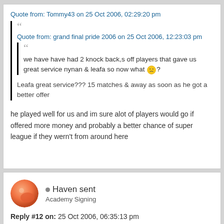Quote from: Tommy43 on 25 Oct 2006, 02:29:20 pm
Quote from: grand final pride 2006 on 25 Oct 2006, 12:23:03 pm
we have had 2 knock back,s off players that gave us great service nynan & leafa so now what?
Leafa great service??? 15 matches & away as soon as he got a better offer
he played well for us and im sure alot of players would go if offered more money and probably a better chance of super league if they wern't from around here
[Figure (illustration): Avatar for user Haven sent - orange circular avatar]
Haven sent
Academy Signing
Reply #12 on: 25 Oct 2006, 06:35:13 pm